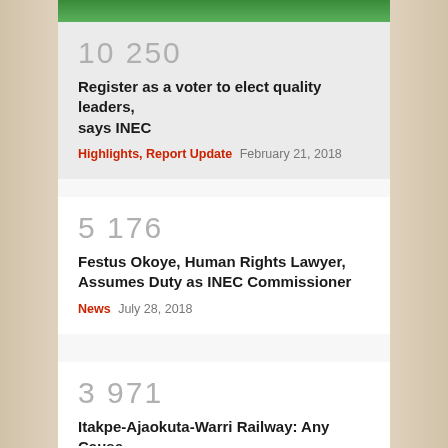[Figure (photo): Green banner/header image at top of page]
10 250
Register as a voter to elect quality leaders, says INEC
Highlights, Report Update   February 21, 2018
5 176
Festus Okoye, Human Rights Lawyer, Assumes Duty as INEC Commissioner
News   July 28, 2018
3 971
Itakpe-Ajaokuta-Warri Railway: Any Cause to Cheer?
Analysis   July 24, 2020
8 687